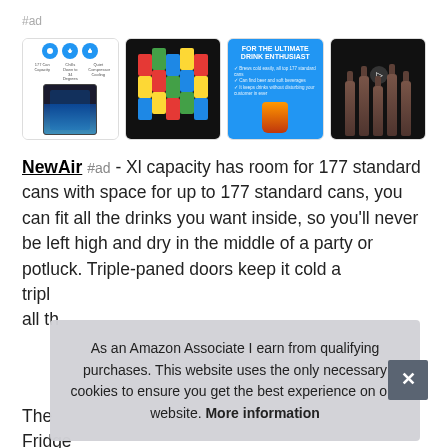#ad
[Figure (photo): Four product thumbnail images: 1) NewAir beverage fridge with icons, 2) cans stacked in black fridge, 3) blue promo image 'FOR THE ULTIMATE DRINK ENTHUSIAST', 4) bottles in fridge]
NewAir #ad - Xl capacity has room for 177 standard cans with space for up to 177 standard cans, you can fit all the drinks you want inside, so you'll never be left high and dry in the middle of a party or potluck. Triple-paned doors keep it cold a tripl... all th...
The... Fridge...
As an Amazon Associate I earn from qualifying purchases. This website uses the only necessary cookies to ensure you get the best experience on our website. More information